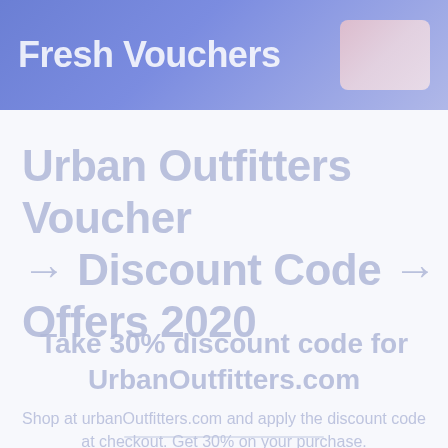Fresh Vouchers
Urban Outfitters Voucher → Discount Code → Offers 2020
Take 30% discount code for UrbanOutfitters.com
Shop at urbanoutfitters.com and apply the discount code at checkout. Get 30% on your purchase.